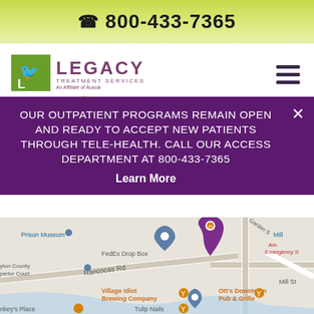800-433-7365
[Figure (logo): Legacy Treatment Services logo - green square with bird icon, purple LEGACY wordmark and subtitle 'An Affiliate of Acacia']
OUR OUTPATIENT PROGRAMS REMAIN OPEN AND READY TO ACCEPT NEW PATIENTS THROUGH TELE-HEALTH. CALL OUR ACCESS DEPARTMENT AT 800-433-7365
Learn More
[Figure (map): Google Maps showing location near Rancocas Rd and Brainerd St, Burlington NJ area. Landmarks include FedEx Drop Box, Prison Museum, Village Idiot Brewing Company, Tulip Nails, Ott's Downtown Pub & Grille. A large purple location marker indicates the Legacy Treatment Services location. Several orange and teal map markers visible.]